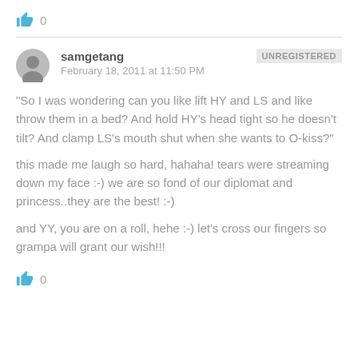[Figure (illustration): Thumbs up like icon in blue with count '0' next to it]
samgetang
February 18, 2011 at 11:50 PM
UNREGISTERED
"So I was wondering can you like lift HY and LS and like throw them in a bed? And hold HY's head tight so he doesn't tilt? And clamp LS's mouth shut when she wants to O-kiss?"
this made me laugh so hard, hahaha! tears were streaming down my face :-) we are so fond of our diplomat and princess..they are the best! :-)
and YY, you are on a roll, hehe :-) let's cross our fingers so grampa will grant our wish!!!
[Figure (illustration): Thumbs up like icon in blue with count '0' next to it (bottom)]